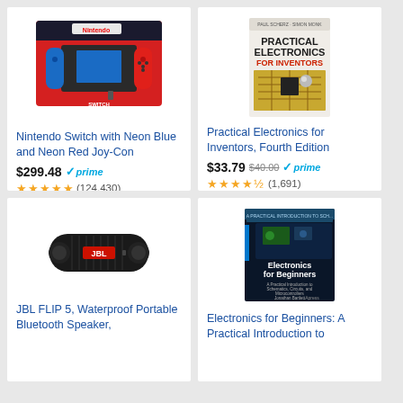[Figure (photo): Nintendo Switch console box with Neon Blue and Neon Red Joy-Con controllers]
Nintendo Switch with Neon Blue and Neon Red Joy-Con
$299.48 prime ★★★★★ (124,430)
[Figure (photo): Book cover: Practical Electronics for Inventors, Fourth Edition]
Practical Electronics for Inventors, Fourth Edition
$33.79 $40.00 prime ★★★★½ (1,691)
[Figure (photo): JBL FLIP 5 black portable Bluetooth speaker]
JBL FLIP 5, Waterproof Portable Bluetooth Speaker,
[Figure (photo): Book cover: Electronics for Beginners: A Practical Introduction to Schematics, Circuits, and Microcontrollers]
Electronics for Beginners: A Practical Introduction to